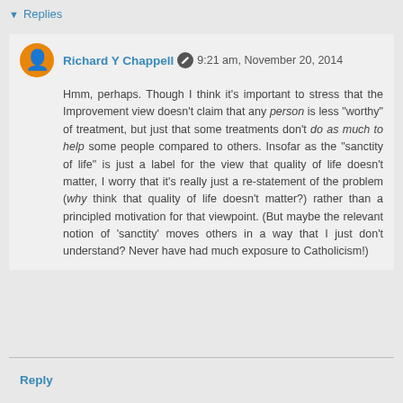Replies
Richard Y Chappell  9:21 am, November 20, 2014
Hmm, perhaps. Though I think it's important to stress that the Improvement view doesn't claim that any person is less "worthy" of treatment, but just that some treatments don't do as much to help some people compared to others. Insofar as the "sanctity of life" is just a label for the view that quality of life doesn't matter, I worry that it's really just a re-statement of the problem (why think that quality of life doesn't matter?) rather than a principled motivation for that viewpoint. (But maybe the relevant notion of 'sanctity' moves others in a way that I just don't understand? Never have had much exposure to Catholicism!)
Reply